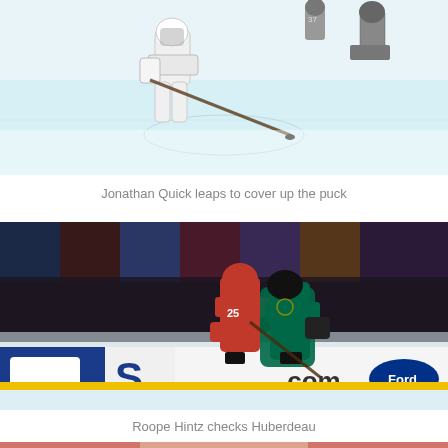[Figure (photo): Hockey photo showing Jonathan Quick leaping to cover up the puck on the ice during an NHL game]
Jonathan Quick leaps to cover up the puck
[Figure (photo): Hockey photo showing Roope Hintz checking Huberdeau into the boards during an NHL game with crowd in background]
Roope Hintz checks Huberdeau
[Figure (photo): Partial hockey photo at bottom of page]